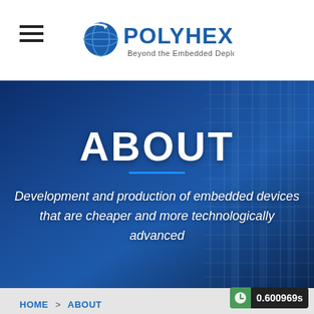POLYHEX — Beyond the Embedded Deployment
[Figure (screenshot): Hero banner with dark blue server rack background, large ABOUT heading, blue underline, and italic subtitle text about embedded devices]
ABOUT
Development and production of embedded devices that are cheaper and more technologically advanced
HOME > ABOUT